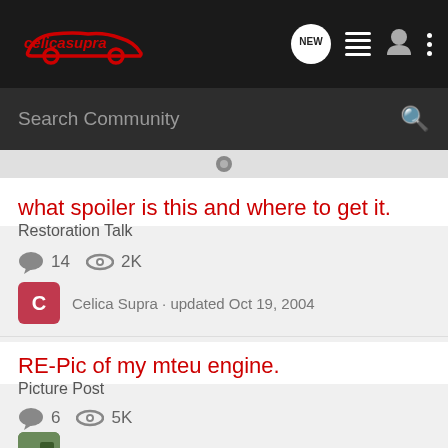celicasupra — navigation bar with logo, NEW button, list icon, user icon, menu icon
Search Community
what spoiler is this and where to get it.
Restoration Talk
14  2K
Celica Supra · updated Oct 19, 2004
RE-Pic of my mteu engine.
Picture Post
6  5K
celicasupramteu · updated May 2, 2007